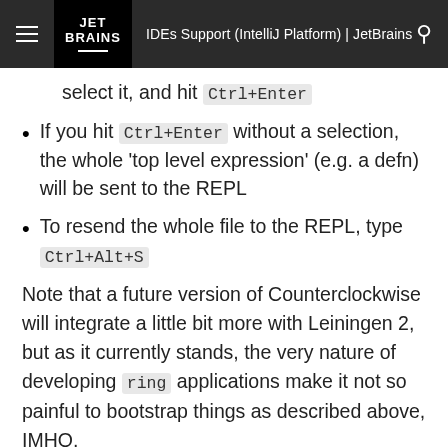JET BRAINS | IDEs Support (IntelliJ Platform) | JetBrains
select it, and hit Ctrl+Enter
If you hit Ctrl+Enter without a selection, the whole 'top level expression' (e.g. a defn) will be sent to the REPL
To resend the whole file to the REPL, type Ctrl+Alt+S
Note that a future version of Counterclockwise will integrate a little bit more with Leiningen 2, but as it currently stands, the very nature of developing ring applications make it not so painful to bootstrap things as described above, IMHO.